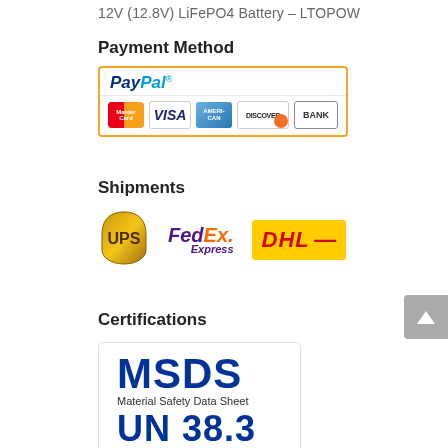12V (12.8V) LiFePO4 Battery – LTOPOW
Payment Method
[Figure (logo): PayPal payment methods logo showing PayPal wordmark and credit card logos: MasterCard, VISA, American Express, Discover, Bank]
Shipments
[Figure (logo): Shipping carrier logos: UPS, FedEx Express, DHL]
Certifications
[Figure (logo): MSDS Material Safety Data Sheet and UN 38.3 certification logos]